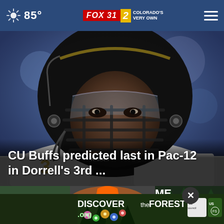85° FOX 31 2 COLORADO'S VERY OWN
[Figure (photo): Close-up of a Colorado Buffaloes football player wearing a black Riddell helmet with a face mask, dressed in white and black uniform, photographed against a blurred blue background]
CU Buffs predicted last in Pac-12 in Dorrell's 3rd ...
[Figure (screenshot): Bottom strip showing partial news thumbnails and a DiscovertheForest.org ad banner with colorful flowers, forest imagery, Ad Council and US Forest Service logos, and partial text MEMPHIS and AVE visible on the right side. A dark circular close button with an X is overlaid.]